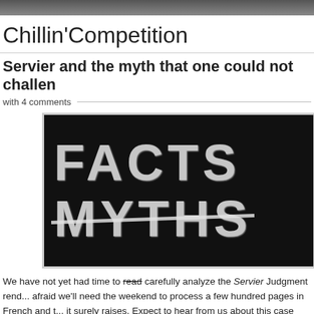Chillin'Competition
Servier and the myth that one could not challen...
with 4 comments
[Figure (photo): Chalkboard with 'FACTS' written in chalk and 'MYTHS' written below with a strikethrough line crossing it out]
We have not yet had time to read carefully analyze the Servier Judgment rend... afraid we'll need the weekend to process a few hundred pages in French and t... it surely raises. Expect to hear from us about this case early next week.